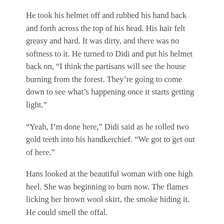He took his helmet off and rubbed his hand back and forth across the top of his head. His hair felt greasy and hard. It was dirty, and there was no softness to it. He turned to Didi and put his helmet back on, “I think the partisans will see the house burning from the forest. They’re going to come down to see what’s happening once it starts getting light.”
“Yeah, I’m done here,” Didi said as he rolled two gold teeth into his handkerchief. “We got to get out of here.”
Hans looked at the beautiful woman with one high heel. She was beginning to burn now. The flames licking her brown wool skirt, the smoke hiding it. He could smell the offal.
The shit world, the shit war, the shit man.
Read John’s interview about the excerpted “Village of Cold Houses,” and his novel Road of Bones.